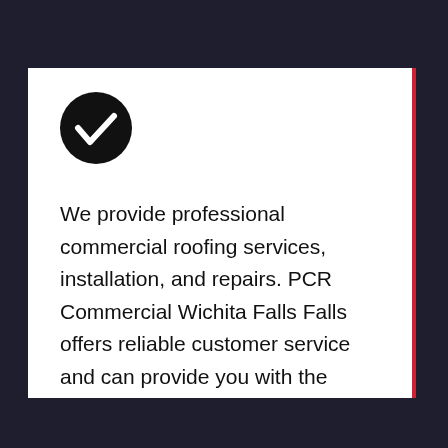[Figure (illustration): Black circle with white checkmark icon]
We provide professional commercial roofing services, installation, and repairs. PCR Commercial Wichita Falls Falls offers reliable customer service and can provide you with the highest level of professionalism